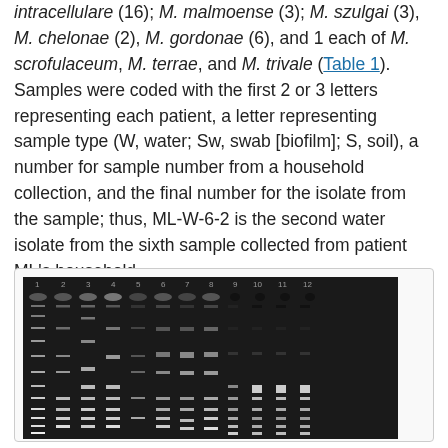intracellulare (16); M. malmoense (3); M. szulgai (3); M. chelonae (2), M. gordonae (6), and 1 each of M. scrofulaceum, M. terrae, and M. trivale (Table 1). Samples were coded with the first 2 or 3 letters representing each patient, a letter representing sample type (W, water; Sw, swab [biofilm]; S, soil), a number for sample number from a household collection, and the final number for the isolate from the sample; thus, ML-W-6-2 is the second water isolate from the sixth sample collected from patient ML's household.
[Figure (photo): Gel electrophoresis image showing 12 numbered lanes with DNA band patterns on a dark background, with lane numbers 1-12 labeled at top.]